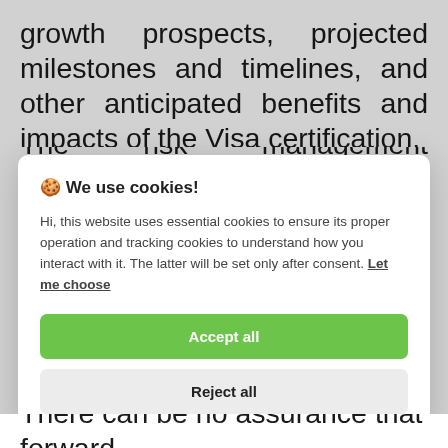growth prospects, projected milestones and timelines, and other anticipated benefits and impacts of the Visa certification.
The risk management restrictions that...
[Figure (screenshot): Cookie consent modal overlay with title '🍪 We use cookies!', body text explaining essential and tracking cookies, 'Let me choose' link, 'Accept all' green button, and 'Reject all' grey button.]
There can be no assurance that forward...